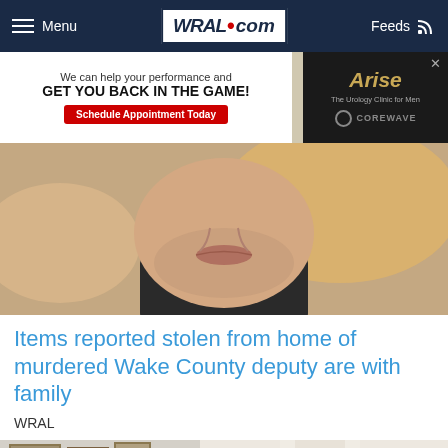Menu | WRAL.com | Feeds
[Figure (screenshot): Advertisement banner: 'We can help your performance and GET YOU BACK IN THE GAME! Schedule Appointment Today' with Arise Urology Clinic for Men and Corewave logo]
[Figure (photo): Close-up portrait photo of a man with stubble beard wearing a dark shirt, bokeh background]
Items reported stolen from home of murdered Wake County deputy are with family
WRAL
[Figure (photo): Interior room photo showing framed artwork on wall, lamp, curtains, and a plant]